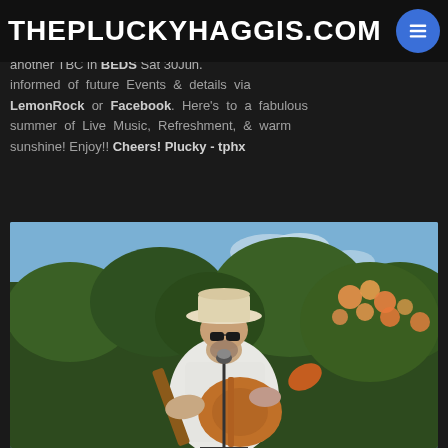THEPLUCKYHAGGIS.COM
Sat 16Jun GIG at The Bald Buzzard Micropub in LB, BUCKS. And another TBC in BEDS Sat 30Jun. informed of future Events & details via LemonRock or Facebook. Here's to a fabulous summer of Live Music, Refreshment, & warm sunshine! Enjoy!! Cheers! Plucky - tphx
[Figure (photo): A man wearing a white shirt and a white hat playing an acoustic guitar outdoors near a microphone stand, with rose bushes and trees in the background on a sunny day.]